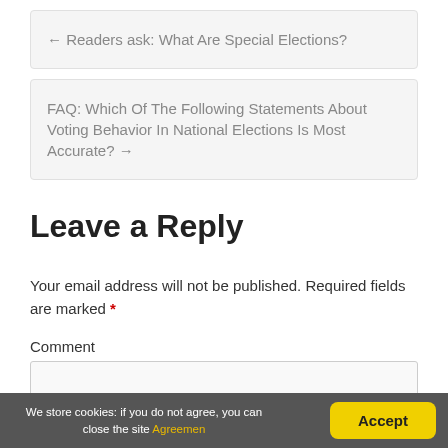← Readers ask: What Are Special Elections?
FAQ: Which Of The Following Statements About Voting Behavior In National Elections Is Most Accurate? →
Leave a Reply
Your email address will not be published. Required fields are marked *
Comment
We store cookies: if you do not agree, you can close the site Agreemen  Accept